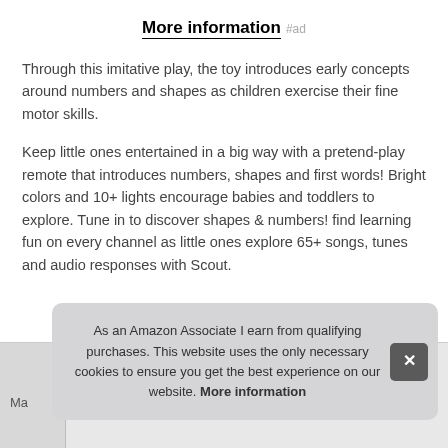More information #ad
Through this imitative play, the toy introduces early concepts around numbers and shapes as children exercise their fine motor skills.
Keep little ones entertained in a big way with a pretend-play remote that introduces numbers, shapes and first words! Bright colors and 10+ lights encourage babies and toddlers to explore. Tune in to discover shapes & numbers! find learning fun on every channel as little ones explore 65+ songs, tunes and audio responses with Scout.
As an Amazon Associate I earn from qualifying purchases. This website uses the only necessary cookies to ensure you get the best experience on our website. More information